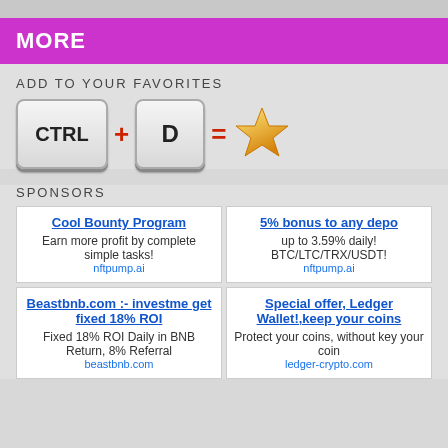MORE
ADD TO YOUR FAVORITES
[Figure (infographic): Keyboard shortcut illustration: CTRL + D = star (favorites)]
SPONSORS
Cool Bounty Program
Earn more profit by complete simple tasks!
nftpump.ai
5% bonus to any depo
up to 3.59% daily!
BTC/LTC/TRX/USDT!
nftpump.ai
Beastbnb.com :- investment get fixed 18% ROI
Fixed 18% ROI Daily in BNB, Return, 8% Referral
beastbnb.com
Special offer, Ledger Wallet!,keep your coins
Protect your coins, without key your coin
ledger-crypto.com